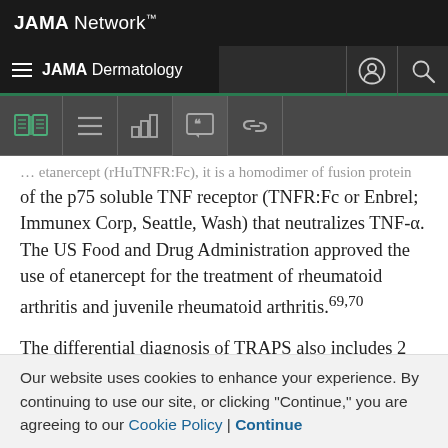JAMA Network
JAMA Dermatology
[Figure (screenshot): Toolbar with icons: open book, menu, bar chart, quote/citation, link]
… etanercept (rHuTNFR:Fc), it is a homodimer of fusion protein of the p75 soluble TNF receptor (TNFR:Fc or Enbrel; Immunex Corp, Seattle, Wash) that neutralizes TNF-α. The US Food and Drug Administration approved the use of etanercept for the treatment of rheumatoid arthritis and juvenile rheumatoid arthritis.69,70
The differential diagnosis of TRAPS also includes 2 other periodic fever syndromes in children: infantile-onset
Our website uses cookies to enhance your experience. By continuing to use our site, or clicking "Continue," you are agreeing to our Cookie Policy | Continue